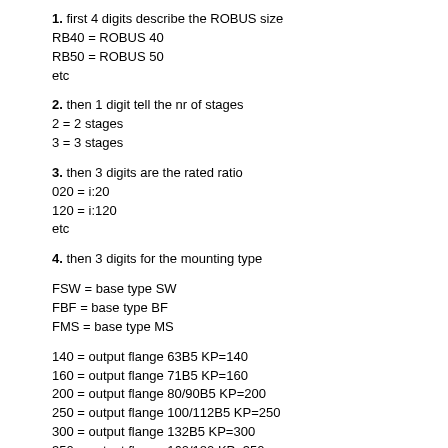1. first 4 digits describe the ROBUS size
RB40 = ROBUS 40
RB50 = ROBUS 50
etc
2. then 1 digit tell the nr of stages
2 = 2 stages
3 = 3 stages
3. then 3 digits are the rated ratio
020 = i:20
120 = i:120
etc
4. then 3 digits for the mounting type
FSW = base type SW
FBF = base type BF
FMS = base type MS
140 = output flange 63B5 KP=140
160 = output flange 71B5 KP=160
200 = output flange 80/90B5 KP=200
250 = output flange 100/112B5 KP=250
300 = output flange 132B5 KP=300
350 = output flange 160/180 KP=350
450 = output flange 200 KP=450
UNV = without foot or output flange
5. then 3 digits for the input flange